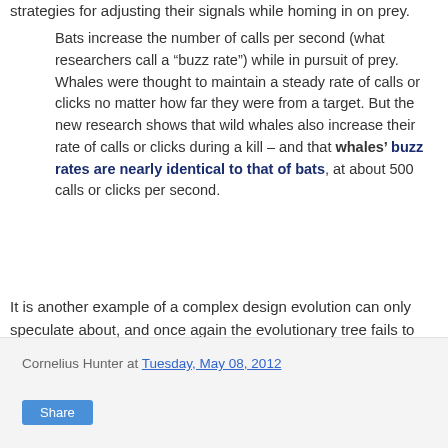strategies for adjusting their signals while homing in on prey.
Bats increase the number of calls per second (what researchers call a “buzz rate”) while in pursuit of prey. Whales were thought to maintain a steady rate of calls or clicks no matter how far they were from a target. But the new research shows that wild whales also increase their rate of calls or clicks during a kill – and that whales’ buzz rates are nearly identical to that of bats, at about 500 calls or clicks per second.
It is another example of a complex design evolution can only speculate about, and once again the evolutionary tree fails to predict its pattern.
Cornelius Hunter at Tuesday, May 08, 2012
Share